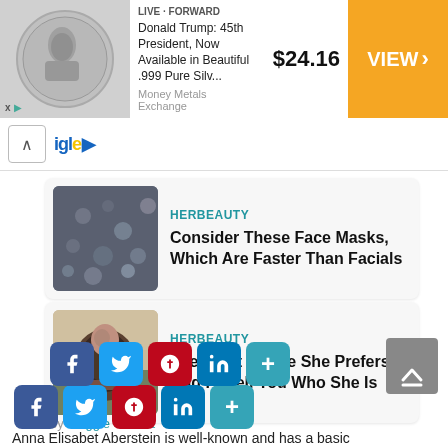[Figure (screenshot): Advertisement banner: coin image on left, 'Donald Trump: 45th President, Now Available in Beautiful .999 Pure Silv...' text, $24.16 price, orange VIEW button on right. Money Metals Exchange source.]
[Figure (screenshot): Navigation bar with up chevron and logo 'igle']
[Figure (screenshot): HerBeauty card: 'Consider These Face Masks, Which Are Faster Than Facials' with a face mask product image]
[Figure (screenshot): HerBeauty card: 'See What Coffee She Prefers And I'll Tell You Who She Is' with a photo of a woman holding a cup]
by Maggie Gomez
[Figure (screenshot): Social share buttons row 1: Facebook, Twitter, Pinterest, LinkedIn, More]
[Figure (screenshot): Social share buttons row 2: Facebook, Twitter, Pinterest, LinkedIn, More (partially overlapping)]
Anna Elisabet Aberstein is well-known and has a basic